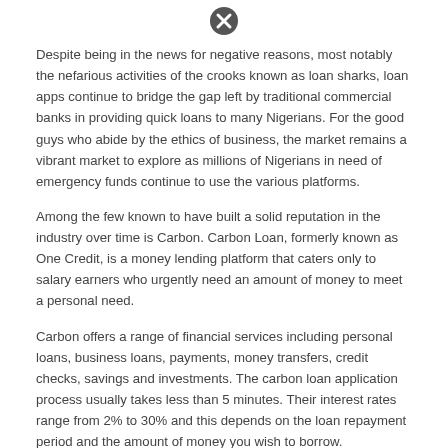[Figure (other): Circular icon with an X mark (close/cancel symbol) at the top of the page]
Despite being in the news for negative reasons, most notably the nefarious activities of the crooks known as loan sharks, loan apps continue to bridge the gap left by traditional commercial banks in providing quick loans to many Nigerians. For the good guys who abide by the ethics of business, the market remains a vibrant market to explore as millions of Nigerians in need of emergency funds continue to use the various platforms.
Among the few known to have built a solid reputation in the industry over time is Carbon. Carbon Loan, formerly known as One Credit, is a money lending platform that caters only to salary earners who urgently need an amount of money to meet a personal need.
Carbon offers a range of financial services including personal loans, business loans, payments, money transfers, credit checks, savings and investments. The carbon loan application process usually takes less than 5 minutes. Their interest rates range from 2% to 30% and this depends on the loan repayment period and the amount of money you wish to borrow.
[Figure (other): Circular icon with an X mark (close/cancel symbol) at the bottom of the page]